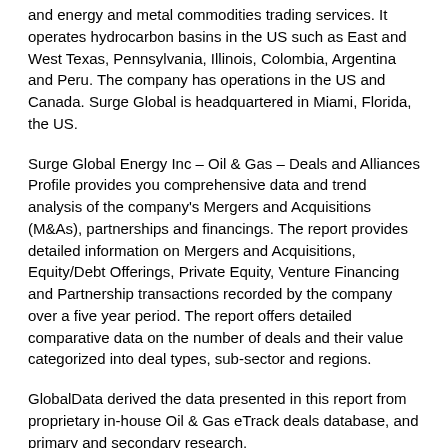and energy and metal commodities trading services. It operates hydrocarbon basins in the US such as East and West Texas, Pennsylvania, Illinois, Colombia, Argentina and Peru. The company has operations in the US and Canada. Surge Global is headquartered in Miami, Florida, the US.
Surge Global Energy Inc – Oil & Gas – Deals and Alliances Profile provides you comprehensive data and trend analysis of the company's Mergers and Acquisitions (M&As), partnerships and financings. The report provides detailed information on Mergers and Acquisitions, Equity/Debt Offerings, Private Equity, Venture Financing and Partnership transactions recorded by the company over a five year period. The report offers detailed comparative data on the number of deals and their value categorized into deal types, sub-sector and regions.
GlobalData derived the data presented in this report from proprietary in-house Oil & Gas eTrack deals database, and primary and secondary research.